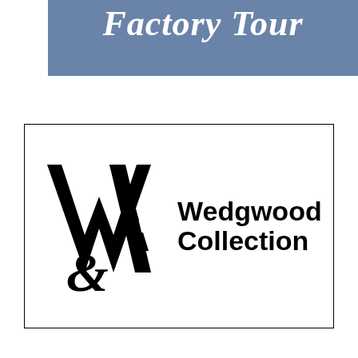Factory Tour
[Figure (logo): V&A Wedgwood Collection logo: large stylized 'V&A' monogram in black serif font on left, with 'Wedgwood Collection' text in bold sans-serif on the right, inside a black-bordered rectangle]
Book now